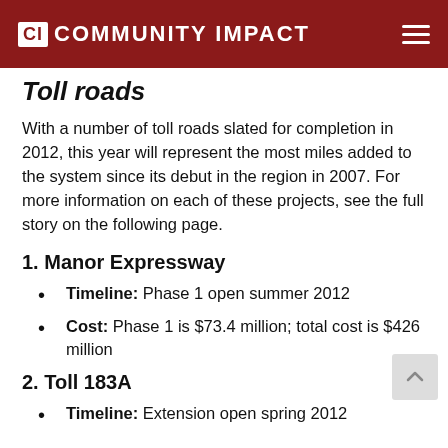CI COMMUNITY IMPACT
Toll roads
With a number of toll roads slated for completion in 2012, this year will represent the most miles added to the system since its debut in the region in 2007. For more information on each of these projects, see the full story on the following page.
1. Manor Expressway
Timeline: Phase 1 open summer 2012
Cost: Phase 1 is $73.4 million; total cost is $426 million
2. Toll 183A
Timeline: Extension open spring 2012